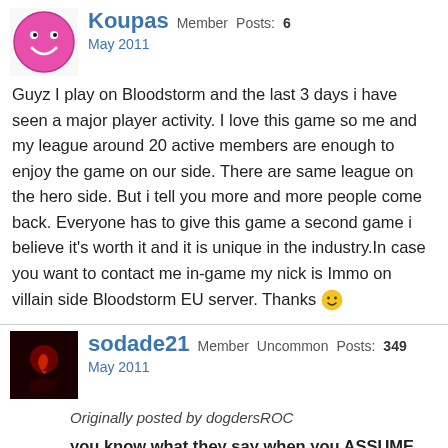[Figure (illustration): Pink smiley face avatar for user Koupas]
Koupas Member Posts: 6
May 2011
Guyz I play on Bloodstorm and the last 3 days i have seen a major player activity. I love this game so me and my league around 20 active members are enough to enjoy the game on our side. There are same league on the hero side. But i tell you more and more people come back. Everyone has to give this game a second game i believe it's worth it and it is unique in the industry.In case you want to contact me in-game my nick is Immo on villain side Bloodstorm EU server. Thanks 🙂
[Figure (illustration): Dark red avatar for user sodade21]
sodade21 Member Uncommon Posts: 349
May 2011
Originally posted by dogdersROC
you know what they say when you ASSUME things. Shouldnt post stuff like this when you only just started playing the game and not sure of what you are talking about. The super servers could be months away and there has no been clarification to the details since the first vague posting about them. They have released some info on the next content pack but I didnt catch